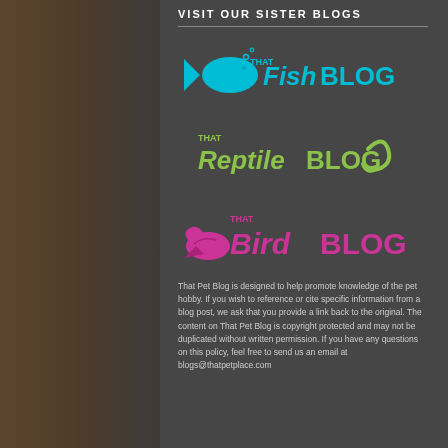VISIT OUR SISTER BLOGS
[Figure (logo): That Fish Blog logo — cyan fish silhouette with 'THAT FishBLOG' text in cyan]
[Figure (logo): That Reptile Blog logo — green 'THAT ReptileBLOG' text with green gecko tail graphic]
[Figure (logo): That Bird Blog logo — pink/magenta 'THAT BirdBLOG' text with pink bird silhouette]
That Pet Blog is designed to help promote knowledge of the pet hobby. If you wish to reference or cite specific information from a blog post, we ask that you provide a link back to the original. The content on That Pet Blog is copyright protected and may not be duplicated without written permission. If you have any questions on this policy, feel free to send us an email at blogs@thatpetplace.com